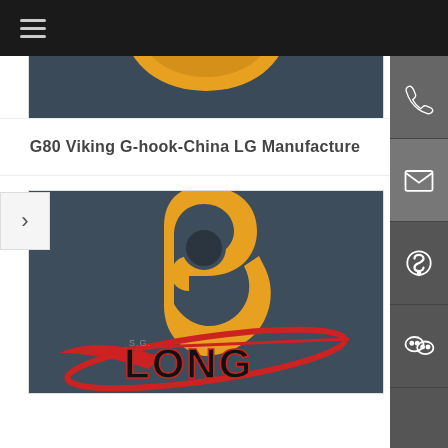Navigation menu bar
[Figure (photo): Top portion of a yellow G80 Viking G-hook industrial lifting hook against dark blue/grey background]
G80 Viking G-hook-China LG Manufacture
[Figure (photo): Yellow G80 Viking G-hook industrial lifting hook with circular hole, shown against dark background with LONG manufacturer logo overlaid at bottom]